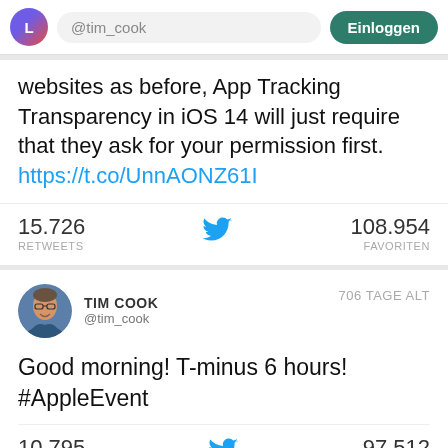[Figure (screenshot): Twitter/social media app top navigation bar with avatar, search field showing @tim_cook, and Einloggen (login) button]
websites as before, App Tracking Transparency in iOS 14 will just require that they ask for your permission first. https://t.co/UnnAONZ61I
15.726 RETWEETS   108.954 FAVORITEN
TIM COOK @tim_cook   706 TAGE ALT
Good morning! T-minus 6 hours! #AppleEvent
10.795 RETWEETS   97.512 FAVORITEN